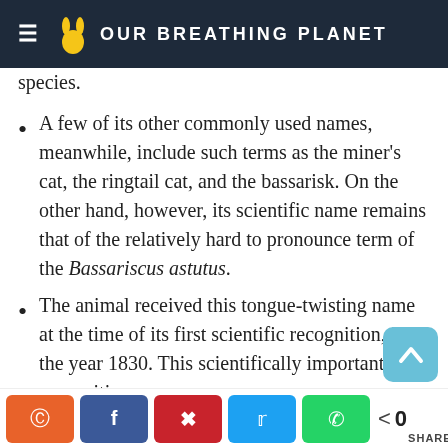OUR BREATHING PLANET
species.
A few of its other commonly used names, meanwhile, include such terms as the miner's cat, the ringtail cat, and the bassarisk. On the other hand, however, its scientific name remains that of the relatively hard to pronounce term of the Bassariscus astutus.
The animal received this tongue-twisting name at the time of its first scientific recognition, in the year 1830. This scientifically important recognition
Share buttons: Reddit, Facebook, Pinterest, Twitter, WhatsApp | 0 SHARES